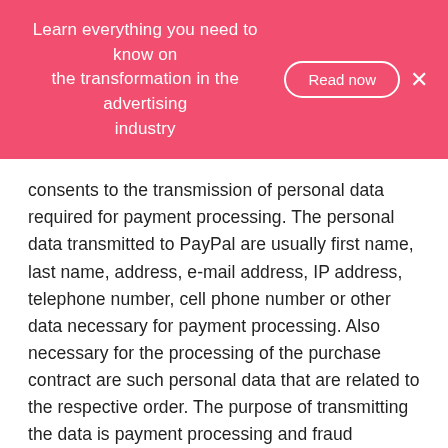Learn everything you need to know on the transformation in the advertising industry
consents to the transmission of personal data required for payment processing. The personal data transmitted to PayPal are usually first name, last name, address, e-mail address, IP address, telephone number, cell phone number or other data necessary for payment processing. Also necessary for the processing of the purchase contract are such personal data that are related to the respective order. The purpose of transmitting the data is payment processing and fraud prevention. We will transmit personal data to PayPal in particular if there is a legitimate interest for the transmission. The personal data exchanged between PayPal and the for us may be transmitted by PayPal to credit reporting agencies. This transmission is for the purpose of checking identity and creditworthiness. PayPal may pass on the personal data to affiliated companies and service providers or